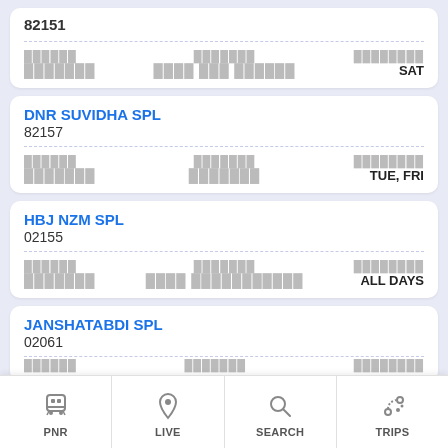82151
SAT
DNR SUVIDHA SPL
82157
TUE, FRI
HBJ NZM SPL
02155
ALL DAYS
JANSHATABDI SPL
02061
PNR  LIVE  SEARCH  TRIPS